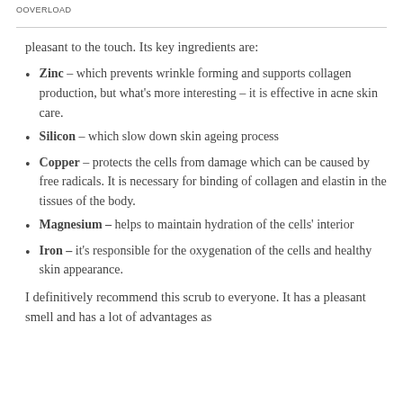OOVERLOAD
pleasant to the touch. Its key ingredients are:
Zinc – which prevents wrinkle forming and supports collagen production, but what's more interesting – it is effective in acne skin care.
Silicon – which slow down skin ageing process
Copper – protects the cells from damage which can be caused by free radicals. It is necessary for binding of collagen and elastin in the tissues of the body.
Magnesium – helps to maintain hydration of the cells' interior
Iron – it's responsible for the oxygenation of the cells and healthy skin appearance.
I definitively recommend this scrub to everyone. It has a pleasant smell and has a lot of advantages as